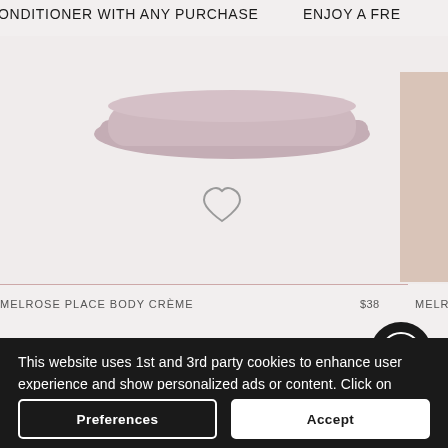ONDITIONER WITH ANY PURCHASE   ENJOY A FRE
[Figure (photo): Partial view of a pink/mauve body crème product container on a light grey/pink background, with a heart (wishlist) icon visible. A second product is partially visible on the right edge.]
MELROSE PLACE BODY CRÈME   $38   MELROSE PLACE B
This website uses 1st and 3rd party cookies to enhance user experience and show personalized ads or content. Click on Privacy Policy for more information or click "Accept" to consent to our use of cookies. Privacy Policy
Preferences
Accept